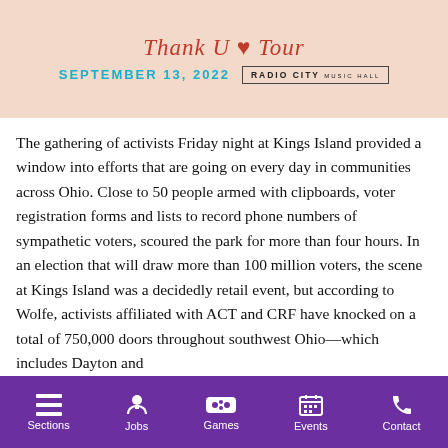[Figure (photo): Event banner for 'Thank U Tour' on September 13, 2022 at Radio City Music Hall, with pink/peach background, cursive red text, teal date, and bordered Radio City logo]
The gathering of activists Friday night at Kings Island provided a window into efforts that are going on every day in communities across Ohio. Close to 50 people armed with clipboards, voter registration forms and lists to record phone numbers of sympathetic voters, scoured the park for more than four hours. In an election that will draw more than 100 million voters, the scene at Kings Island was a decidedly retail event, but according to Wolfe, activists affiliated with ACT and CRF have knocked on a total of 750,000 doors throughout southwest Ohio—which includes Dayton and
Sections  Jobs  Games  Events  Contact